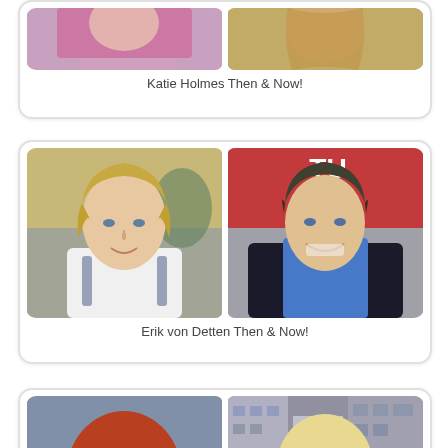[Figure (photo): Card showing Katie Holmes Then & Now - two side-by-side photos, partially cropped at top of page]
Katie Holmes Then & Now!
[Figure (photo): Card showing Erik von Detten Then & Now - young man with blonde hair on left, older man in blue shirt on right]
Erik von Detten Then & Now!
[Figure (photo): Card showing a woman Then & Now - young woman with curly red hair on left, blonde woman in city on right, partially cropped at bottom]